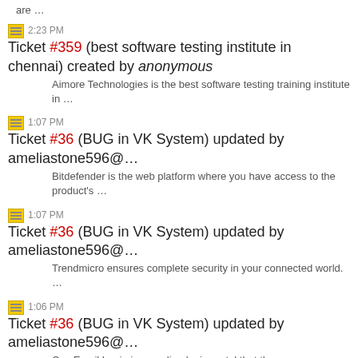are …
2:23 PM Ticket #359 (best software testing institute in chennai) created by anonymous — Aimore Technologies is the best software testing training institute in …
1:07 PM Ticket #36 (BUG in VK System) updated by ameliastone596@… — Bitdefender is the web platform where you have access to the product's …
1:07 PM Ticket #36 (BUG in VK System) updated by ameliastone596@… — Trendmicro ensures complete security in your connected world. …
1:06 PM Ticket #36 (BUG in VK System) updated by ameliastone596@… — Cox Email Login is an online login portal that the company provides to …
12:59 PM Ticket #143 (cenforce 100) updated by mtom — Good day I am so excited I found your webpage, I really